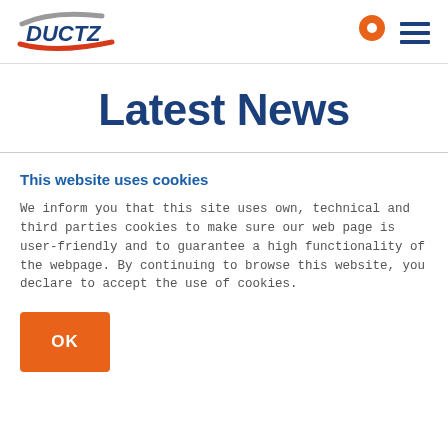[Figure (logo): DUCTZ logo with gray swoosh arc above and red swoosh below the blue bold DUCTZ text]
[Figure (other): Orange map pin location icon and dark blue hamburger menu icon (three horizontal lines)]
Latest News
This website uses cookies
We inform you that this site uses own, technical and third parties cookies to make sure our web page is user-friendly and to guarantee a high functionality of the webpage. By continuing to browse this website, you declare to accept the use of cookies.
OK